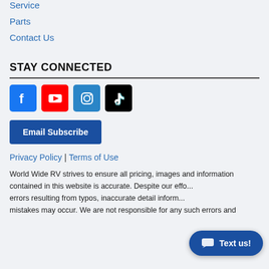Service
Parts
Contact Us
STAY CONNECTED
[Figure (logo): Social media icons: Facebook, YouTube, Instagram, TikTok]
Email Subscribe
Privacy Policy | Terms of Use
World Wide RV strives to ensure all pricing, images and information contained in this website is accurate. Despite our effo... errors resulting from typos, inaccurate detail inform... mistakes may occur. We are not responsible for any such errors and